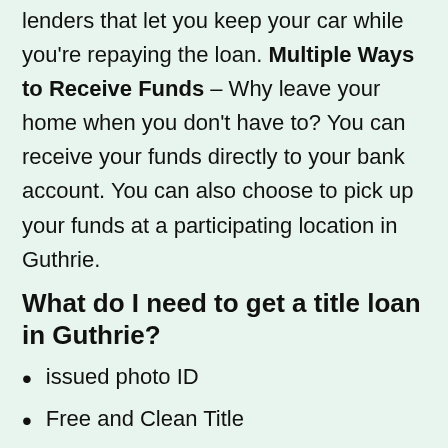lenders that let you keep your car while you're repaying the loan. Multiple Ways to Receive Funds – Why leave your home when you don't have to? You can receive your funds directly to your bank account. You can also choose to pick up your funds at a participating location in Guthrie.
What do I need to get a title loan in Guthrie?
issued photo ID
Free and Clean Title
Proof of Income
Proof of Residence